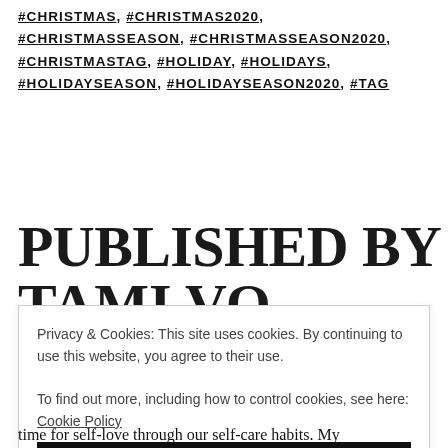#CHRISTMAS, #CHRISTMAS2020, #CHRISTMASSEASON, #CHRISTMASSEASON2020, #CHRISTMASTAG, #HOLIDAY, #HOLIDAYS, #HOLIDAYSEASON, #HOLIDAYSEASON2020, #TAG
PUBLISHED BY TAMI VO
Privacy & Cookies: This site uses cookies. By continuing to use this website, you agree to their use. To find out more, including how to control cookies, see here: Cookie Policy
Close and accept
time for self-love through our self-care habits. My